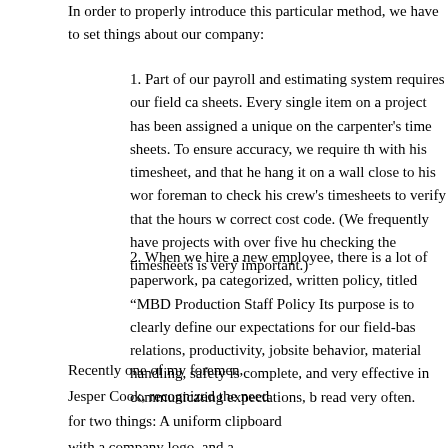In order to properly introduce this particular method, we have to set things about our company:
1. Part of our payroll and estimating system requires our field ca sheets. Every single item on a project has been assigned a unique on the carpenter's time sheets. To ensure accuracy, we require th with his timesheet, and that he hang it on a wall close to his wor foreman to check his crew's timesheets to verify that the hours w correct cost code. (We frequently have projects with over five hu checking the timesheets is very important.)
2. When we hire a new employee, there is a lot of paperwork, pa categorized, written policy, titled “MBD Production Staff Policy Its purpose is to clearly define our expectations for our field-bas relations, productivity, jobsite behavior, material handling, safety is complete, and very effective in communicating expectations, b read very often.
Recently one of my foremen,
Jesper Cook, recognized the need
for two things: A uniform clipboard
with a company logo, and a